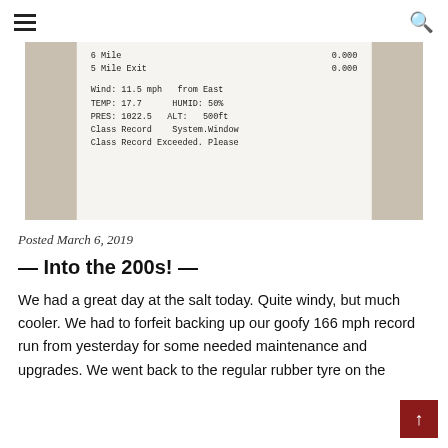≡  🔍
[Figure (photo): Photo of a printed timing/results receipt on a stone surface, showing entries: '6 Mile 0.000', '5 Mile Exit 0.000', 'Wind: 11.5 mph from East', 'TEMP: 17.7  HUMID: 50%', 'PRES: 1022.5  ALT: 500ft', 'Class Record  System.Window', 'Class Record Exceeded. Please']
Posted March 6, 2019
— Into the 200s! —
We had a great day at the salt today. Quite windy, but much cooler. We had to forfeit backing up our goofy 166 mph record run from yesterday for some needed maintenance and upgrades. We went back to the regular rubber tyre on the